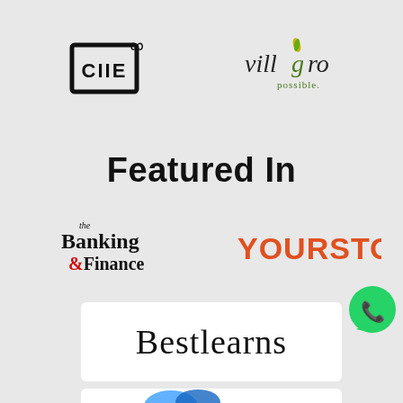[Figure (logo): CIIE logo with infinity symbol — black square bracket style text 'CIIE' with an infinity sign above]
[Figure (logo): Villgro logo — stylized text 'villgro' in dark color with green leaf/flame on the 'g', tagline 'possible.' below]
Featured In
[Figure (logo): The Banking & Finance magazine logo — serif black text with red ampersand]
[Figure (logo): YOURSTORY logo in bold orange/red uppercase sans-serif text]
[Figure (logo): Bestlearns logo — cursive script text inside a white rounded rectangle box]
[Figure (logo): WhatsApp icon — green circle with white phone handset]
[Figure (logo): Partial logo visible at bottom — white rounded rectangle with partial blue graphic]